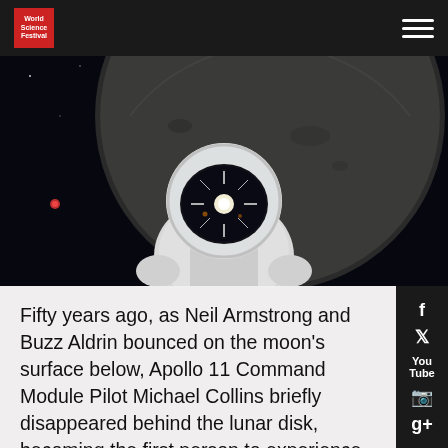World Science Festival
[Figure (photo): An astronaut in a white spacesuit floating in space with a bright star-like light reflected in the visor, the Moon's surface visible in the background against a dark starry sky.]
Fifty years ago, as Neil Armstrong and Buzz Aldrin bounced on the moon's surface below, Apollo 11 Command Module Pilot Michael Collins briefly disappeared behind the lunar disk, becoming the first person to experience space entirely alone. As we set our sights on the stars, space travelers will need to cope with